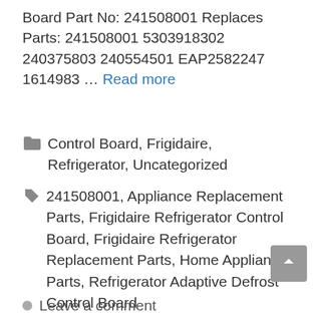Board Part No: 241508001 Replaces Parts: 241508001 5303918302 240375803 240554501 EAP2582247 1614983 … Read more
Categories: Control Board, Frigidaire, Refrigerator, Uncategorized
Tags: 241508001, Appliance Replacement Parts, Frigidaire Refrigerator Control Board, Frigidaire Refrigerator Replacement Parts, Home Appliance Parts, Refrigerator Adaptive Defrost Control Board
Leave a comment